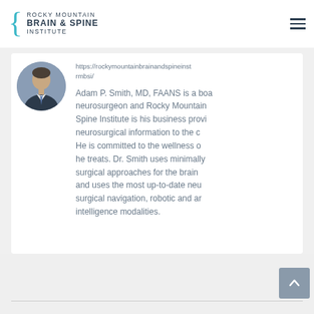[Figure (logo): Rocky Mountain Brain & Spine Institute logo with teal brace symbol and text]
[Figure (photo): Circular headshot photo of Dr. Adam P. Smith in suit and tie]
https://rockymountainbrainandspineins... rmbsi/
Adam P. Smith, MD, FAANS is a board-certified neurosurgeon and Rocky Mountain Brain & Spine Institute is his business providing neurosurgical information to the community. He is committed to the wellness of the patients he treats. Dr. Smith uses minimally invasive surgical approaches for the brain and spine and uses the most up-to-date neurosurgical navigation, robotic and artificial intelligence modalities.